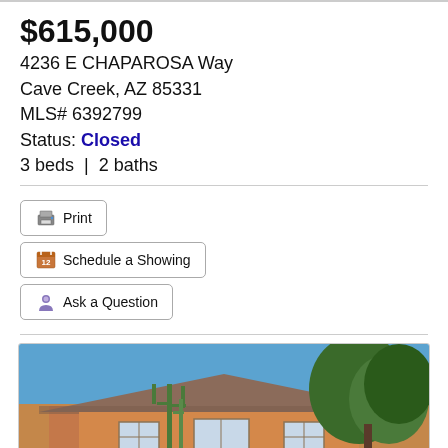$615,000
4236 E CHAPAROSA Way
Cave Creek, AZ 85331
MLS# 6392799
Status: Closed
3 beds | 2 baths
Print
Schedule a Showing
Ask a Question
[Figure (photo): Exterior photo of a single-story Southwest-style home with tile roof, desert landscaping including tall cactus, and green trees against a blue sky.]